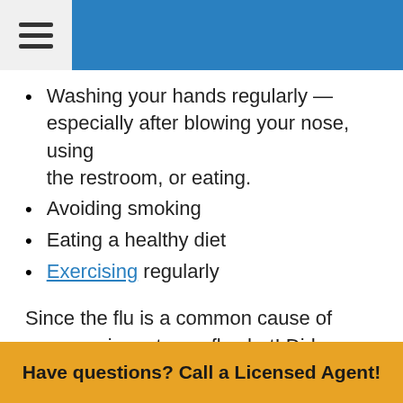Washing your hands regularly — especially after blowing your nose, using the restroom, or eating.
Avoiding smoking
Eating a healthy diet
Exercising regularly
Since the flu is a common cause of pneumonia, get your flu shot! Did you know Medicare pays for your annual flu shot? Read more about preventing the flu here.
Have questions? Call a Licensed Agent!